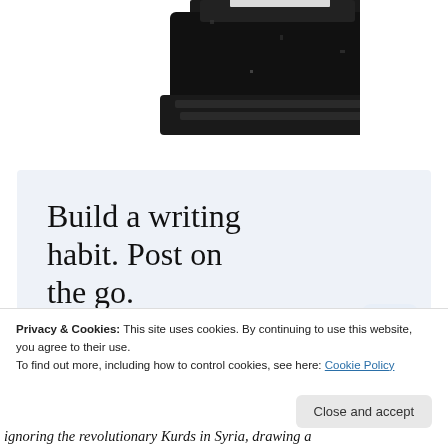[Figure (photo): Black and white image of a typewriter, partially cropped at top of page]
[Figure (screenshot): WordPress advertisement banner with light blue background. Text reads 'Build a writing habit. Post on the go.' with a 'GET THE APP' link and WordPress logo icon.]
Privacy & Cookies: This site uses cookies. By continuing to use this website, you agree to their use.
To find out more, including how to control cookies, see here: Cookie Policy
Close and accept
ignoring the revolutionary Kurds in Syria, drawing a